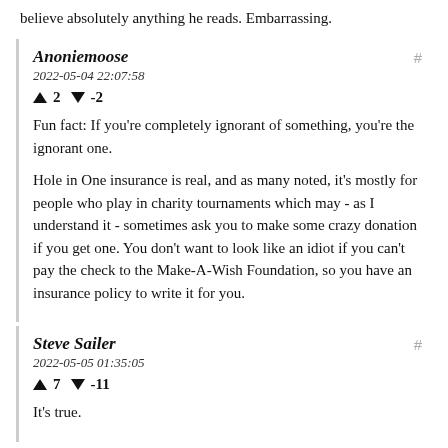believe absolutely anything he reads. Embarrassing.
Anoniemoose
2022-05-04 22:07:58
▲ 2 ▼ -2
Fun fact: If you're completely ignorant of something, you're the ignorant one.

Hole in One insurance is real, and as many noted, it's mostly for people who play in charity tournaments which may - as I understand it - sometimes ask you to make some crazy donation if you get one. You don't want to look like an idiot if you can't pay the check to the Make-A-Wish Foundation, so you have an insurance policy to write it for you.
Steve Sailer
2022-05-05 01:35:05
▲ 7 ▼ -11
It's true.